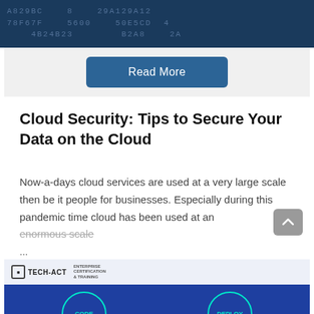[Figure (screenshot): Dark blue cybersecurity banner with hex/binary code text overlay]
Read More
Cloud Security: Tips to Secure Your Data on the Cloud
Now-a-days cloud services are used at a very large scale then be it people for businesses. Especially during this pandemic time cloud has been used at an enormous scale
...
By Tech-Act
[Figure (screenshot): Tech-Act branded banner with CODE and DEPLOY circular badges on blue background]